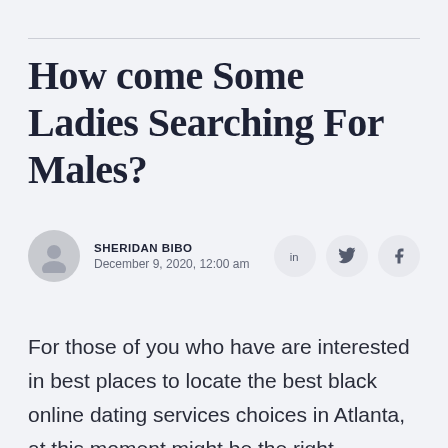How come Some Ladies Searching For Males?
SHERIDAN BIBO
December 9, 2020, 12:00 am
For those of you who have are interested in best places to locate the best black online dating services choices in Atlanta, at this moment might be the right